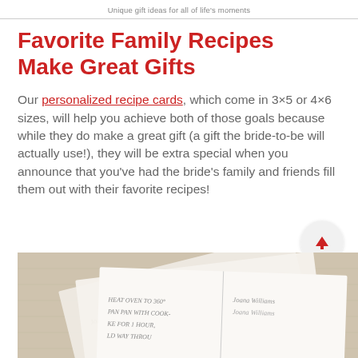Unique gift ideas for all of life's moments
Favorite Family Recipes Make Great Gifts
Our personalized recipe cards, which come in 3×5 or 4×6 sizes, will help you achieve both of those goals because while they do make a great gift (a gift the bride-to-be will actually use!), they will be extra special when you announce that you've had the bride's family and friends fill them out with their favorite recipes!
[Figure (photo): Photo of handwritten recipe cards fanned out on a light beige surface, with cursive writing visible including text like 'HEAT OVEN TO 360°', 'PAN PAN WITH COOK-', 'KE FOR 1 HOUR,', 'LD WAY THROU' and names like 'Joana Williams']